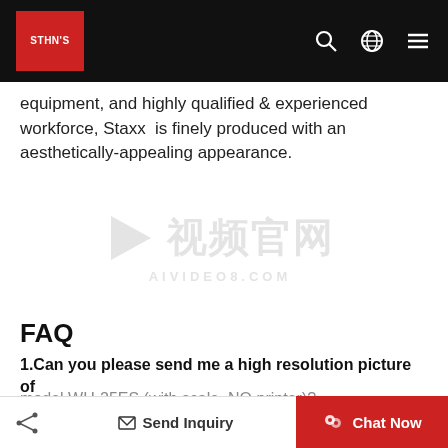STHN'S [logo] navigation bar with search, globe, and menu icons
equipment, and highly qualified & experienced workforce, Staxx  is finely produced with an aesthetically-appealing appearance.
[Figure (logo): Watermark logo: play button triangle icon with Chinese characters and text AIVIDEO8.COM]
FAQ
1.Can you please send me a high resolution picture of model WH-25ES (with scale, NO printer)?
Please kindly send us a photo. Will it work Share